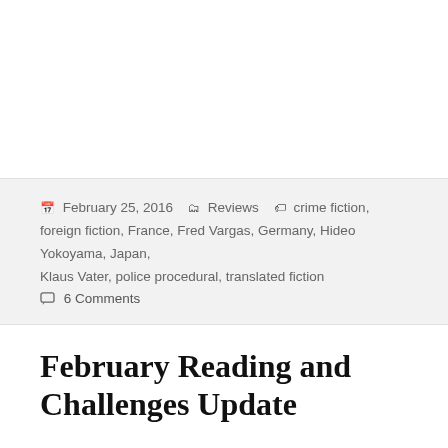February 25, 2016  Reviews  crime fiction, foreign fiction, France, Fred Vargas, Germany, Hideo Yokoyama, Japan, Klaus Vater, police procedural, translated fiction  6 Comments
February Reading and Challenges Update
So yes, you may have noticed that I have fallen ever so slightly off the TBR Double Dare waggon this month (ahem! five books or so, without counting